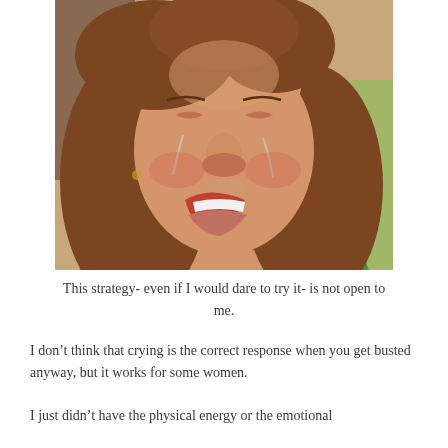[Figure (photo): A woman with long brown hair crying or sobbing with a distressed facial expression, wearing a green top with decorative neckline.]
This strategy- even if I would dare to try it- is not open to me.
I don’t think that crying is the correct response when you get busted anyway, but it works for some women.
I just didn’t have the physical energy or the emotional